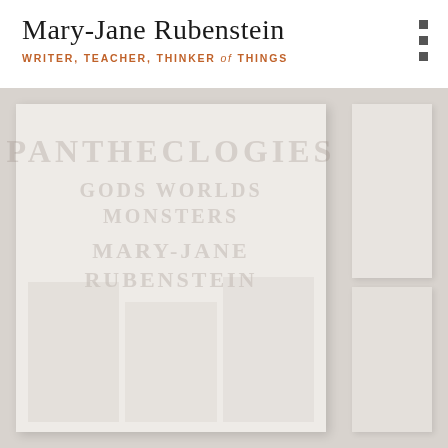Mary-Jane Rubenstein
WRITER, TEACHER, THINKER of THINGS
[Figure (photo): Book cover photograph showing a faded/watermarked image of a book with the text 'PANTHEOLOGIES GODS WORLDS MONSTERS MARY-JANE RUBENSTEIN' visible as a ghosted overlay, set against a light grey-beige background with additional faint book cover images in the lower portion]